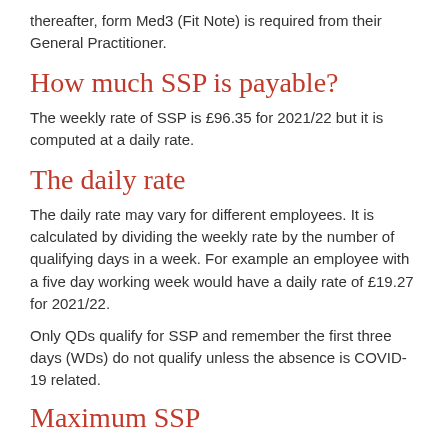thereafter, form Med3 (Fit Note) is required from their General Practitioner.
How much SSP is payable?
The weekly rate of SSP is £96.35 for 2021/22 but it is computed at a daily rate.
The daily rate
The daily rate may vary for different employees. It is calculated by dividing the weekly rate by the number of qualifying days in a week. For example an employee with a five day working week would have a daily rate of £19.27 for 2021/22.
Only QDs qualify for SSP and remember the first three days (WDs) do not qualify unless the absence is COVID-19 related.
Maximum SSP